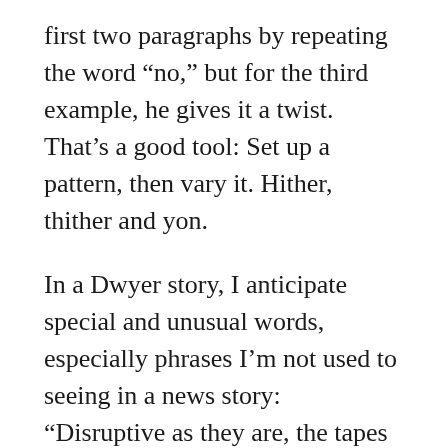first two paragraphs by repeating the word “no,” but for the third example, he gives it a twist. That’s a good tool: Set up a pattern, then vary it. Hither, thither and yon.
In a Dwyer story, I anticipate special and unusual words, especially phrases I’m not used to seeing in a news story: “Disruptive as they are, the tapes hold unique power as aural relics and as portals into a lost and unseen moment for these three families.” And check this out: “For